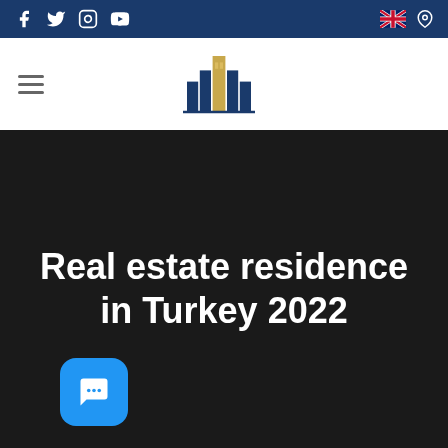Social media icons and navigation bar with logo
Real estate residence in Turkey 2022
[Figure (illustration): Blue chat bubble icon button in the bottom left of the hero section]